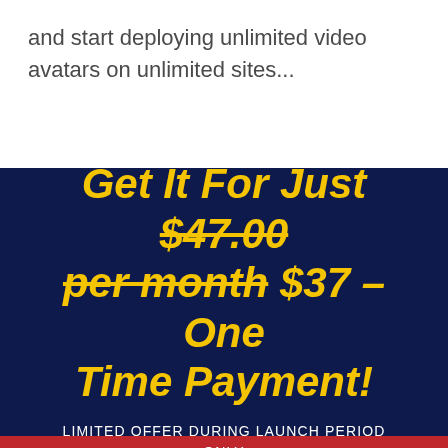and start deploying unlimited video avatars on unlimited sites...
Get It For Just $47.00 per month $37 – One Time Payment!
LIMITED OFFER DURING LAUNCH PERIOD ONLY